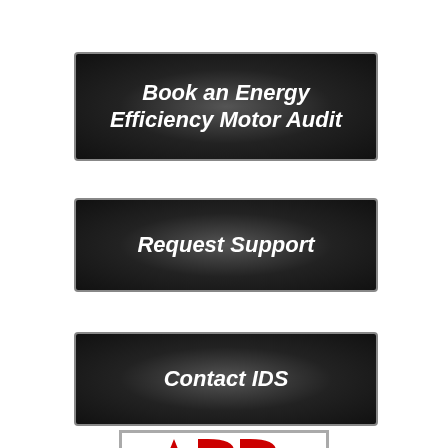[Figure (illustration): Dark rounded button with white bold italic text: 'Book an Energy Efficiency Motor Audit']
[Figure (illustration): Dark rounded button with white bold italic text: 'Request Support']
[Figure (illustration): Dark rounded button with white bold italic text: 'Contact IDS']
[Figure (logo): ABB logo in red inside a grey-bordered white rectangle, partially visible at bottom]